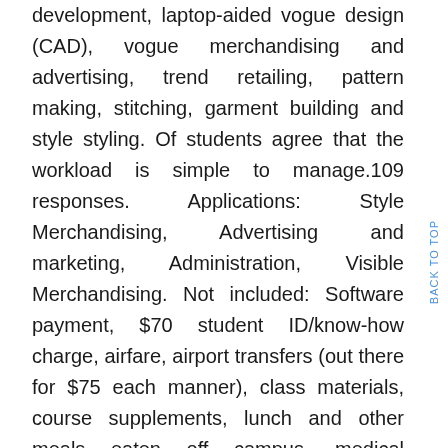development, laptop-aided vogue design (CAD), vogue merchandising and advertising, trend retailing, pattern making, stitching, garment building and style styling. Of students agree that the workload is simple to manage.109 responses. Applications: Style Merchandising, Advertising and marketing, Administration, Visible Merchandising. Not included: Software payment, $70 student ID/know-how charge, airfare, airport transfers (out there for $75 each manner), class materials, course supplements, lunch and other meals eaten off campus, medical expenses, laundry, linens, blanket and pillow, souvenirs, and spending money.
Study extra about how transferring your school credits to earn a specialised submit-degree or